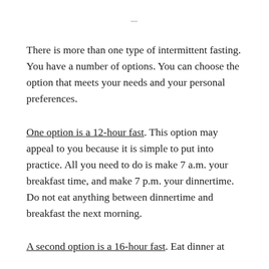—
There is more than one type of intermittent fasting. You have a number of options. You can choose the option that meets your needs and your personal preferences.
One option is a 12-hour fast. This option may appeal to you because it is simple to put into practice. All you need to do is make 7 a.m. your breakfast time, and make 7 p.m. your dinnertime. Do not eat anything between dinnertime and breakfast the next morning.
A second option is a 16-hour fast. Eat dinner at